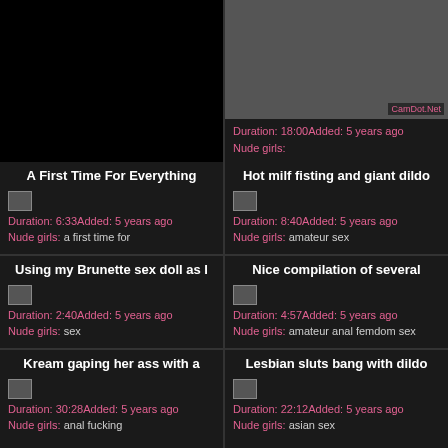[Figure (screenshot): Top-left black thumbnail placeholder]
[Figure (screenshot): Top-right video thumbnail, watermark CamDot.Net]
Duration: 18:00Added: 5 years ago
Nude girls:
A First Time For Everything
Duration: 6:33Added: 5 years ago
Nude girls: a first time for
Hot milf fisting and giant dildo
Duration: 8:40Added: 5 years ago
Nude girls: amateur sex
Using my Brunette sex doll as I
Duration: 2:40Added: 5 years ago
Nude girls: sex
Nice compilation of several
Duration: 4:57Added: 5 years ago
Nude girls: amateur anal femdom sex
Kream gaping her ass with a
Duration: 30:28Added: 5 years ago
Nude girls: anal fucking
Lesbian sluts bang with dildo
Duration: 22:12Added: 5 years ago
Nude girls: asian sex
Lesbian Stace Lane Punishes
Milf machine fucked